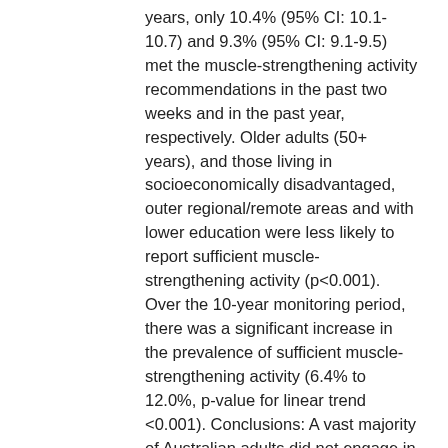years, only 10.4% (95% CI: 10.1-10.7) and 9.3% (95% CI: 9.1-9.5) met the muscle-strengthening activity recommendations in the past two weeks and in the past year, respectively. Older adults (50+ years), and those living in socioeconomically disadvantaged, outer regional/remote areas and with lower education were less likely to report sufficient muscle-strengthening activity (p<0.001). Over the 10-year monitoring period, there was a significant increase in the prevalence of sufficient muscle-strengthening activity (6.4% to 12.0%, p-value for linear trend <0.001). Conclusions: A vast majority of Australian adults did not engage in sufficient muscle-strengthening activity. There is a need for public health strategies to support participation in muscle-strengthening activity in this population. Such strategies should target older and lower educated adults, and those living in socioeconomically disadvantaged, outer regional/remote and areas. © 2016 Bennie et al. This is an open access article distributed under